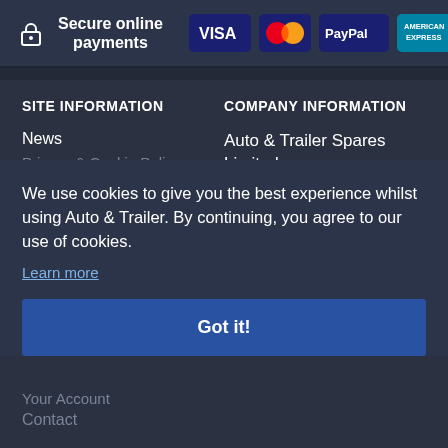[Figure (infographic): Secure online payments header bar with lock icon and payment logos: VISA, MasterCard, PayPal, American Express]
SITE INFORMATION
COMPANY INFORMATION
News
Auto & Trailer Spares Limited
Privacy & Cookie Policy
...nagh,
We use cookies to give you the best experience whilst using Auto & Trailer. By continuing, you agree to our use of cookies.
Learn more
82
Got it!
Your Account
Contact